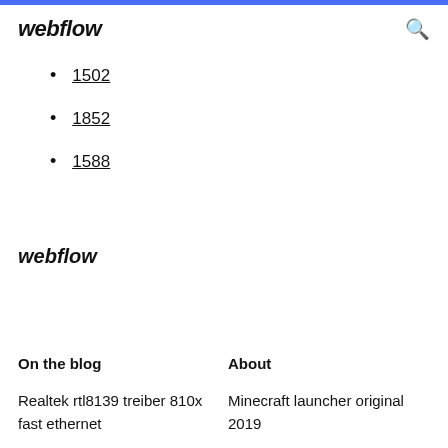webflow
1502
1852
1588
webflow
On the blog
About
Realtek rtl8139 treiber 810x fast ethernet
Minecraft launcher original 2019